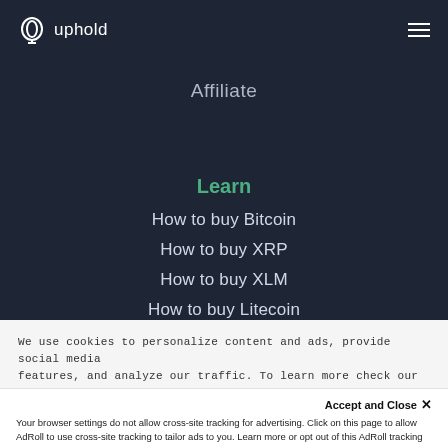uphold
Affiliate
Learn
How to buy Bitcoin
How to buy XRP
How to buy XLM
How to buy Litecoin
We use cookies to personalize content and ads, provide social media features, and analyze our traffic. To learn more check our cookies policy.
Accept and Close ✕
Your browser settings do not allow cross-site tracking for advertising. Click on this page to allow AdRoll to use cross-site tracking to tailor ads to you. Learn more or opt out of this AdRoll tracking by clicking here. This message only appears once.